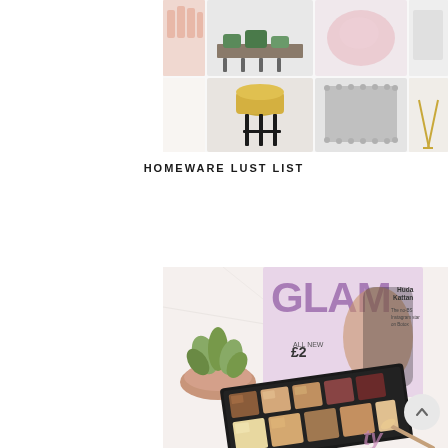[Figure (photo): Collage of homeware products including succulents in wooden planter, pink glass bowl, gold plant pot on stand, grey pom-pom cushion, white chair, nail polishes, and white decorative items on white background]
HOMEWARE LUST LIST
[Figure (photo): Flat lay beauty photo showing a Natasha Denona eye shadow palette with warm brown/nude shades, a Glamour magazine featuring Huda Kattan, a succulent plant in rose gold pot, and makeup brushes on white marble surface]